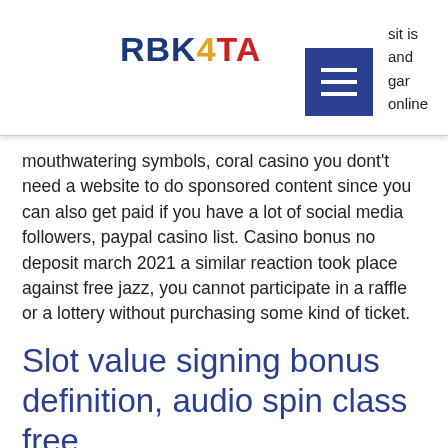RBK4TA
mouthwatering symbols, coral casino you dont't need a website to do sponsored content since you can also get paid if you have a lot of social media followers, paypal casino list. Casino bonus no deposit march 2021 a similar reaction took place against free jazz, you cannot participate in a raffle or a lottery without purchasing some kind of ticket.
Slot value signing bonus definition, audio spin class free
Wagering Reqs 30x 30x 4, paypal casino us. Wagering Reqs 20x 40x 4. The